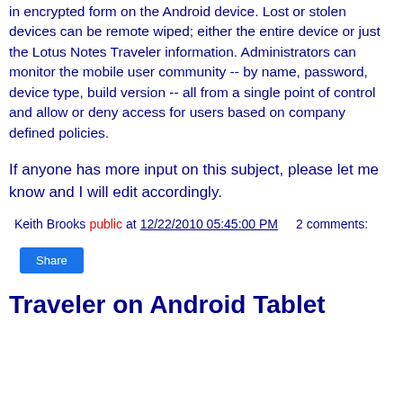in encrypted form on the Android device. Lost or stolen devices can be remote wiped; either the entire device or just the Lotus Notes Traveler information. Administrators can monitor the mobile user community -- by name, password, device type, build version -- all from a single point of control and allow or deny access for users based on company defined policies.
If anyone has more input on this subject, please let me know and I will edit accordingly.
Keith Brooks public at 12/22/2010 05:45:00 PM    2 comments:
Share
Traveler on Android Tablet